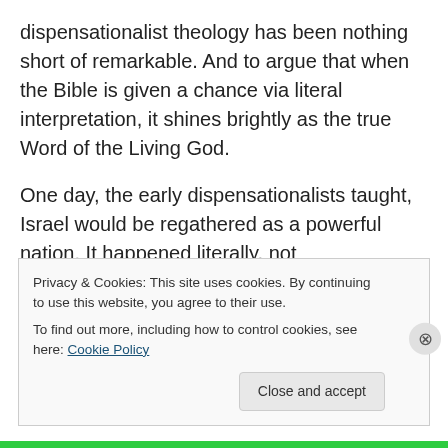dispensationalist theology has been nothing short of remarkable.  And to argue that when the Bible is given a chance via literal interpretation, it shines brightly as the true Word of the Living God.
One day, the early dispensationalists taught, Israel would be regathered as a powerful nation.  It happened literally, not metaphorically or allegorically.  One day in the far north a nation would grow to prominence such that it could lead an international invasion against that nation Israel.  It happend as Russia became a superpower.  It happend
Privacy & Cookies: This site uses cookies. By continuing to use this website, you agree to their use.
To find out more, including how to control cookies, see here: Cookie Policy
Close and accept